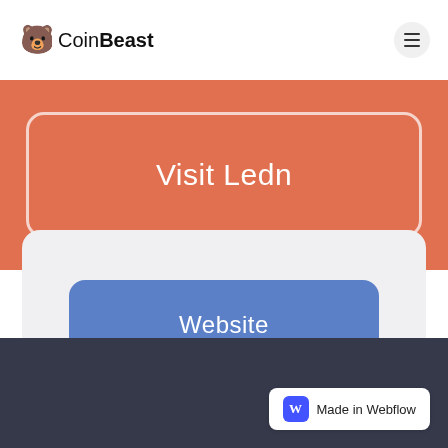CoinBeast
[Figure (screenshot): Orange banner with Visit Ledn button outlined in white rounded rectangle]
[Figure (screenshot): Light grey card with blue Website button]
Made in Webflow